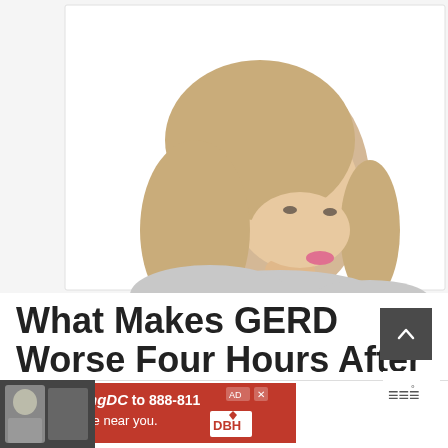[Figure (photo): A blonde woman in a gray top looking upward with her chin tilted up, against a white background, possibly depicting neck/throat discomfort related to GERD]
What Makes GERD Worse Four Hours After
[Figure (other): Advertisement banner: Text LiveLongDC to 888-811 to find naloxone near you. Red background with DBH logo.]